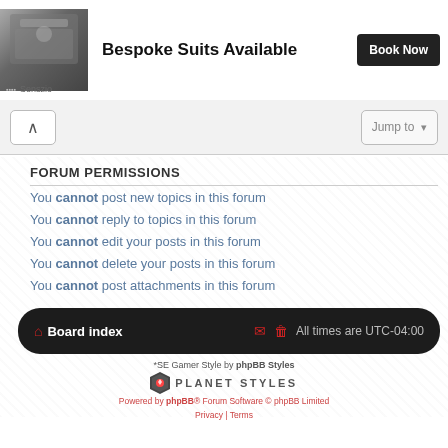[Figure (screenshot): Advertisement banner for Bespoke Suits with photo of tailor working with fabric, text 'Bespoke Suits Available', and a dark 'Book Now' button. Source labeled 'Senszio'.]
FORUM PERMISSIONS
You cannot post new topics in this forum
You cannot reply to topics in this forum
You cannot edit your posts in this forum
You cannot delete your posts in this forum
You cannot post attachments in this forum
Board index | All times are UTC-04:00
*SE Gamer Style by phpBB Styles
PLANET STYLES
Powered by phpBB® Forum Software © phpBB Limited
Privacy | Terms